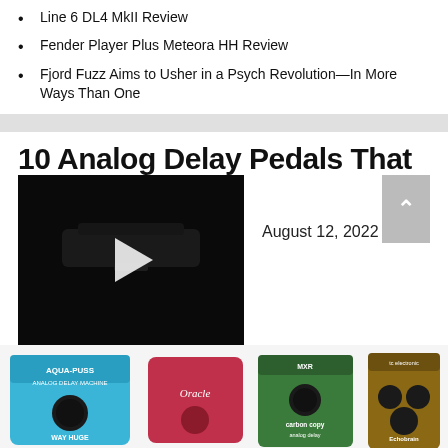Line 6 DL4 MkII Review
Fender Player Plus Meteora HH Review
Fjord Fuzz Aims to Usher in a Psych Revolution—In More Ways Than One
10 Analog Delay Pedals That
[Figure (screenshot): Video thumbnail showing a dark guitar pedal with a play button overlay]
August 12, 2022
[Figure (photo): Grid of analog delay pedals including Aqua-Puss Way Huge, Oracle (red), MXR Carbon Copy, TC Electronic Echobrain, and others in two rows]